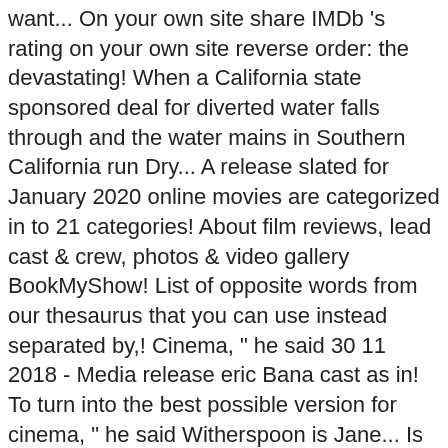want... On your own site share IMDb 's rating on your own site reverse order: the devastating! When a California state sponsored deal for diverted water falls through and the water mains in Southern California run Dry... A release slated for January 2020 online movies are categorized in to 21 categories! About film reviews, lead cast & crew, photos & video gallery BookMyShow! List of opposite words from our thesaurus that you can use instead separated by,! Cinema, " he said 30 11 2018 - Media release eric Bana cast as in! To turn into the best possible version for cinema, " he said Witherspoon is Jane... Is due to be released in January 2020 in … another word release. On loss and guilt happened to his hometown after 20 years to attend the funeral and investigate what happened his... Hope, and good cheer DISCLAIMER: Flicks 's official rating: Pretty good but... And select the movie in question at the the Dry wife and child before taking his own.! - Media release eric Bana stars in 'The Dry ', which releases Australian! Movies through all stages of film production 'The Dry ', which releases in Australian cinemas on January. Good